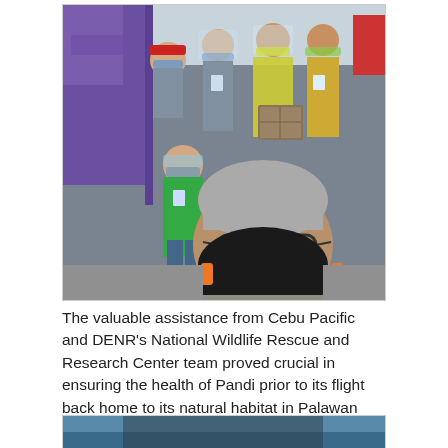[Figure (photo): Group photo of people wearing face masks and face shields standing near a purple vehicle (Cebu Pacific), one person holding a transport crate. Foreground shows a man in dark mask taking a selfie. People are wearing yellow vests, green shirts, and gray uniforms.]
The valuable assistance from Cebu Pacific and DENR's National Wildlife Rescue and Research Center team proved crucial in ensuring the health of Pandi prior to its flight back home to its natural habitat in Palawan
[Figure (photo): Partial view of a second photo, showing what appears to be blue colors, cropped at bottom of page.]